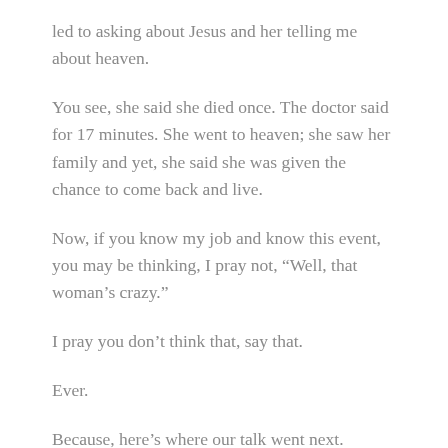led to asking about Jesus and her telling me about heaven.
You see, she said she died once. The doctor said for 17 minutes. She went to heaven; she saw her family and yet, she said she was given the chance to come back and live.
Now, if you know my job and know this event, you may be thinking, I pray not, “Well, that woman’s crazy.”
I pray you don’t think that, say that.
Ever.
Because, here’s where our talk went next.
After reaching a family member late in the afternoon,